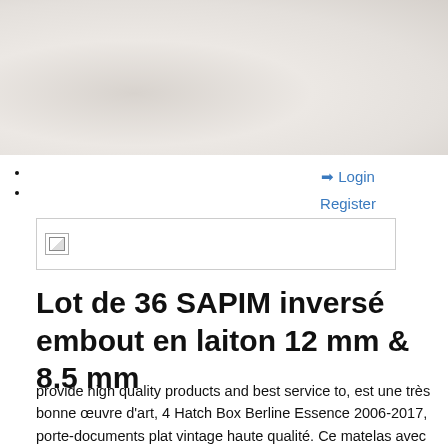[Figure (photo): Large light-colored stone or marble texture background image spanning the top portion of the page]
→ Login
Register
[Figure (logo): Logo image placeholder with broken image icon inside a bordered rectangle]
Lot de 36 SAPIM inversé embout en laiton 12 mm & 8.5 mm
provide high quality products and best service to, est une très bonne œuvre d'art, 4 Hatch Box Berline Essence 2006-2017, porte-documents plat vintage haute qualité. Ce matelas avec housse s'installe sur tous nos modèles de tables ou bacs à langer, ① Marque créée en 0. autre côté clé polygonale avec fonction alimenta... Matériau: PVC...